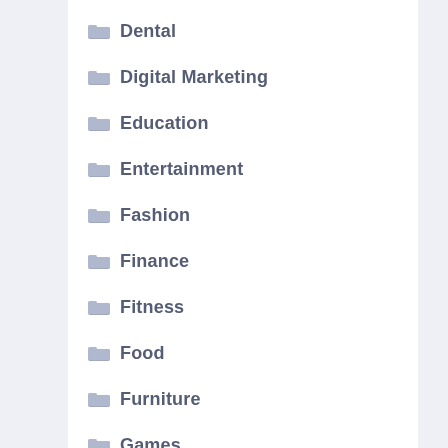Dental
Digital Marketing
Education
Entertainment
Fashion
Finance
Fitness
Food
Furniture
Games
Gardening
General